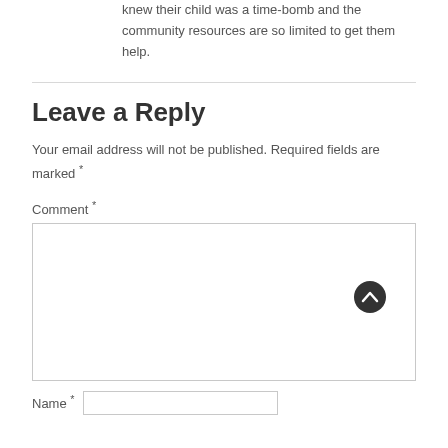knew their child was a time-bomb and the community resources are so limited to get them help.
Leave a Reply
Your email address will not be published. Required fields are marked *
Comment *
Name *